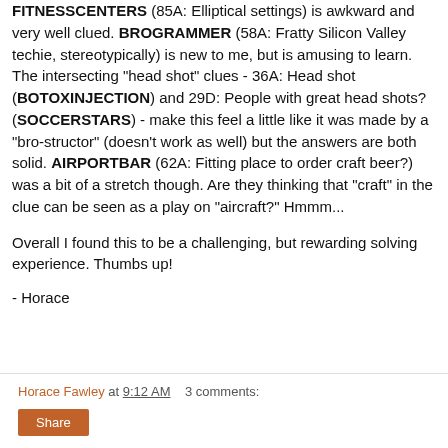FITNESSCENTERS (85A: Elliptical settings) is awkward and very well clued. BROGRAMMER (58A: Fratty Silicon Valley techie, stereotypically) is new to me, but is amusing to learn. The intersecting "head shot" clues - 36A: Head shot (BOTOXINJECTION) and 29D: People with great head shots? (SOCCERSTARS) - make this feel a little like it was made by a "bro-structor" (doesn't work as well) but the answers are both solid. AIRPORTBAR (62A: Fitting place to order craft beer?) was a bit of a stretch though. Are they thinking that "craft" in the clue can be seen as a play on "aircraft?" Hmmm...
Overall I found this to be a challenging, but rewarding solving experience. Thumbs up!
- Horace
Horace Fawley at 9:12 AM   3 comments: